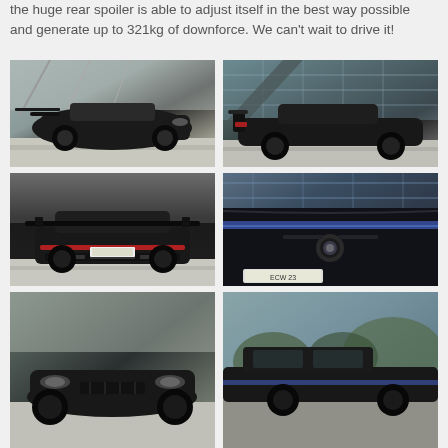the huge rear spoiler is able to adjust itself in the best way possible and generate up to 321kg of downforce. We can't wait to drive it!
[Figure (photo): Black modified Porsche 911 sports car photographed from front-left angle in a parking area with modern building in background]
[Figure (photo): Black modified Porsche 911 sports car photographed from side/rear angle in a parking area with modern glass building in background]
[Figure (photo): Black modified Porsche 911 convertible photographed from rear angle in a parking area]
[Figure (photo): Close-up of black car hood with blue stripe detail and badge, modern building in background]
[Figure (photo): Partial view of black Porsche from front angle outdoors]
[Figure (photo): Partial view of black Porsche outdoors with trees in background]